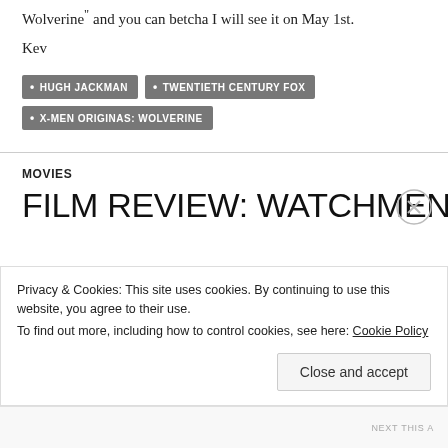Wolverine" and you can betcha I will see it on May 1st.
Kev
HUGH JACKMAN
TWENTIETH CENTURY FOX
X-MEN ORIGINAS: WOLVERINE
MOVIES
FILM REVIEW: WATCHMEN
Privacy & Cookies: This site uses cookies. By continuing to use this website, you agree to their use.
To find out more, including how to control cookies, see here: Cookie Policy
Close and accept